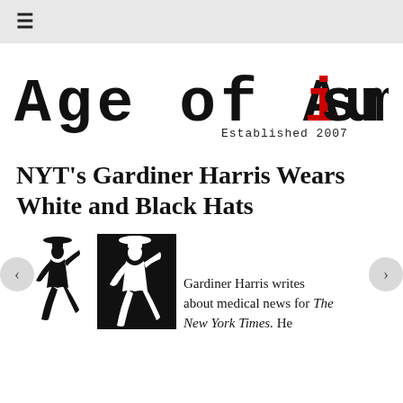≡
[Figure (logo): Age of Autism logo in distressed typewriter font with red 'i', tagline 'Established 2007']
NYT's Gardiner Harris Wears White and Black Hats
[Figure (illustration): Two silhouette figures of a cowboy in dynamic pose — one outlined black on white, one white on black background]
Gardiner Harris writes about medical news for The New York Times. He